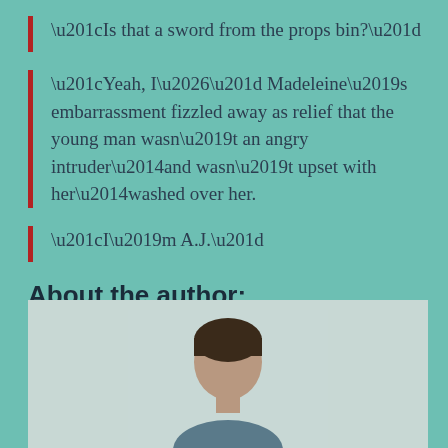“Is that a sword from the props bin?”
“Yeah, I…” Madeleine’s embarrassment fizzled away as relief that the young man wasn’t an angry intruder—and wasn’t upset with her—washed over her.
“I’m A.J.”
About the author:
[Figure (photo): Author photo showing a person from shoulders up against a light background]